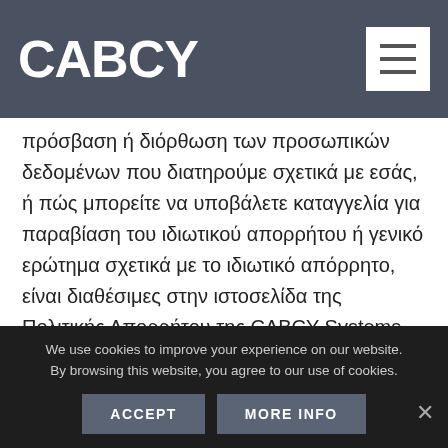CABCY
πρόσβαση ή διόρθωση των προσωπικών δεδομένων που διατηρούμε σχετικά με εσάς, ή πώς μπορείτε να υποβάλετε καταγγελία για παραβίαση του ιδιωτικού απορρήτου ή γενικό ερώτημα σχετικά με το ιδιωτικό απόρρητο, είναι διαθέσιμες στην ιστοσελίδα της Πολιτικής Απορρήτου της CABCY Systems Limited στην διεύθυνση https://cab.com.cy/privacy- policy/.
ΑΠΟΖΗΜΙΩΣΗ
We use cookies to improve your experience on our website. By browsing this website, you agree to our use of cookies.